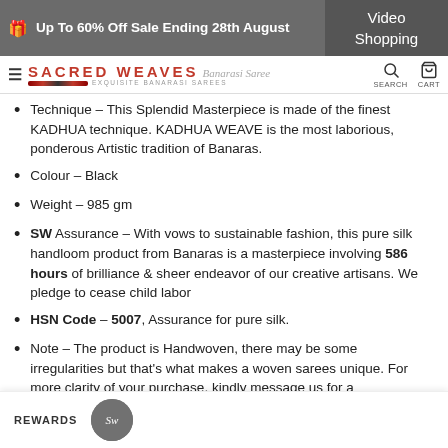Up To 60% Off Sale Ending 28th August | Video Shopping
SACRED WEAVES Banarasi Saree | SEARCH | CART
Technique – This Splendid Masterpiece is made of the finest KADHUA technique. KADHUA WEAVE is the most laborious, ponderous Artistic tradition of Banaras.
Colour – Black
Weight – 985 gm
SW Assurance – With vows to sustainable fashion, this pure silk handloom product from Banaras is a masterpiece involving 586 hours of brilliance & sheer endeavor of our creative artisans. We pledge to cease child labor
HSN Code – 5007, Assurance for pure silk.
Note – The product is Handwoven, there may be some irregularities but that's what makes a woven sarees unique. For more clarity of your purchase, kindly message us for a
…worldwide